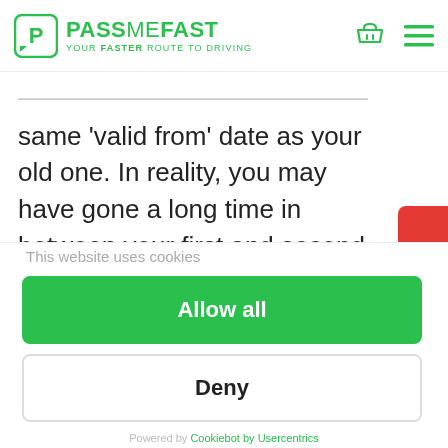[Figure (logo): PassMeFast logo - green P icon in rounded square, green text PASS ME FAST, tagline YOUR FASTER ROUTE TO DRIVING]
same 'valid from' date as your old one. In reality, you may have gone a long time in between your first and second licences, during which period you were not qualified. Your best bet in this instance
This website uses cookies
Allow all
Deny
Powered by Cookiebot by Usercentrics